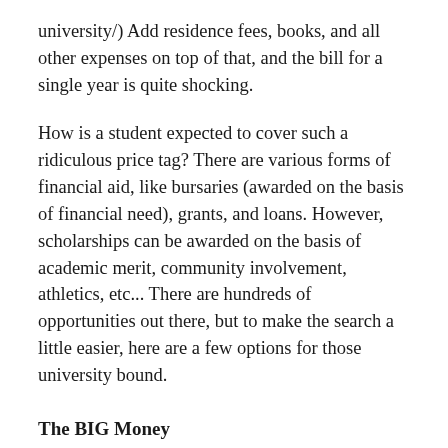university/) Add residence fees, books, and all other expenses on top of that, and the bill for a single year is quite shocking.
How is a student expected to cover such a ridiculous price tag? There are various forms of financial aid, like bursaries (awarded on the basis of financial need), grants, and loans. However, scholarships can be awarded on the basis of academic merit, community involvement, athletics, etc... There are hundreds of opportunities out there, but to make the search a little easier, here are a few options for those university bound.
The BIG Money
The Loran (http://loranscholar.ca/)
Value: $100,000